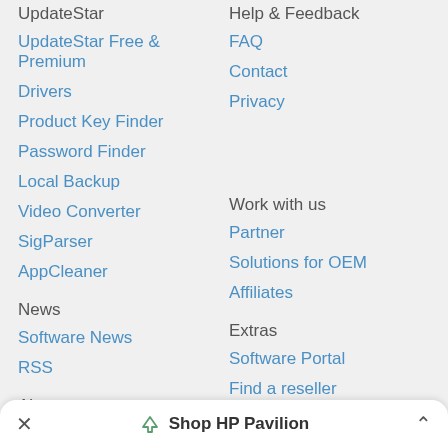UpdateStar
UpdateStar Free & Premium
Drivers
Product Key Finder
Password Finder
Local Backup
Video Converter
SigParser
AppCleaner
Help & Feedback
FAQ
Contact
Privacy
News
Software News
RSS
Work with us
Partner
Solutions for OEM
Affiliates
About
What is UpdateStar?
Press
Team
Extras
Software Portal
Find a reseller
Become a reseller
Shop HP Pavilion